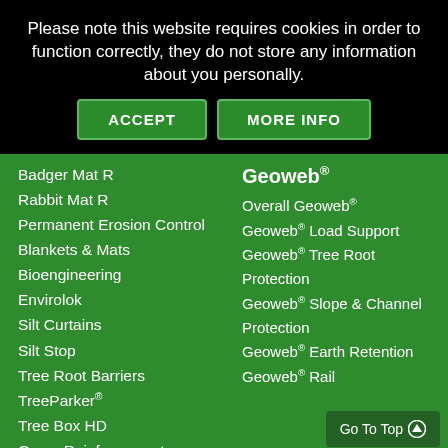Please note this website requires cookies in order to function correctly, they do not store any information about you personally.
ACCEPT
MORE INFO
Badger Mat R
Rabbit Mat R
Permanent Erosion Control
Blankets & Mats
Bioengineering
Envirolok
Silt Curtains
Silt Stop
Tree Root Barriers
TreeParker®
Tree Box HD
Grass Reinforcement
Grass Seed
Lining Products
Root & Weed Control
Geoweb®
Overall Geoweb®
Geoweb® Load Support
Geoweb® Tree Root Protection
Geoweb® Slope & Channel Protection
Geoweb® Earth Retention
Geoweb® Rail
Go To Top